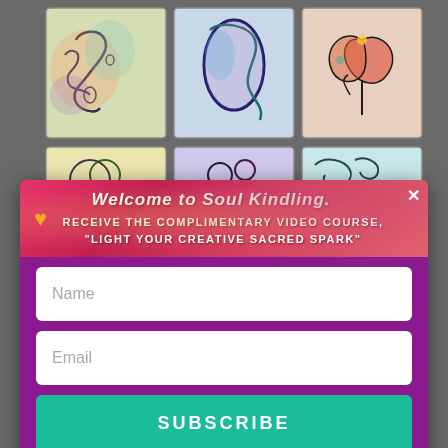[Figure (illustration): Background showing a grid of colorful abstract artwork panels with hand-drawn swirling patterns in various colors including teal, pink, orange, and blue on light backgrounds]
Welcome to Soul Kindling.
RECEIVE THE COMPLIMENTARY VIDEO COURSE, "LIGHT YOUR CREATIVE SACRED SPARK"
Name
Email
SUBSCRIBE